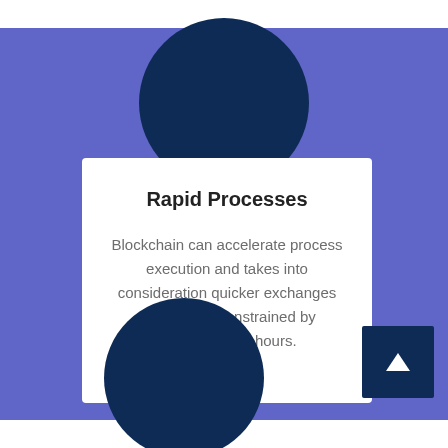[Figure (infographic): Purple background with white horizontal bands at top and bottom, large dark navy circles top-center and bottom-center, white card in the middle with title and text, dark navy arrow button at bottom right]
Rapid Processes
Blockchain can accelerate process execution and takes into consideration quicker exchanges that are not constrained by administration hours.